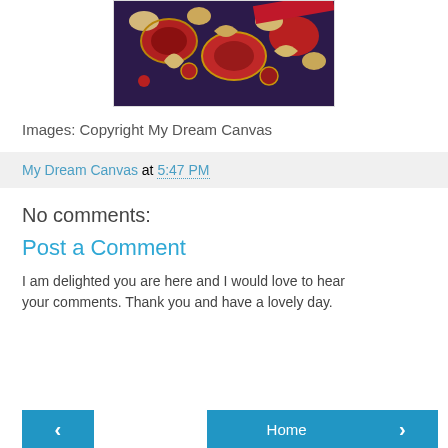[Figure (photo): Close-up photo of colorful embroidered textile fabric with red, blue, cream and gold patterns]
Images: Copyright My Dream Canvas
My Dream Canvas at 5:47 PM
No comments:
Post a Comment
I am delighted you are here and I would love to hear your comments. Thank you and have a lovely day.
‹  Home  ›